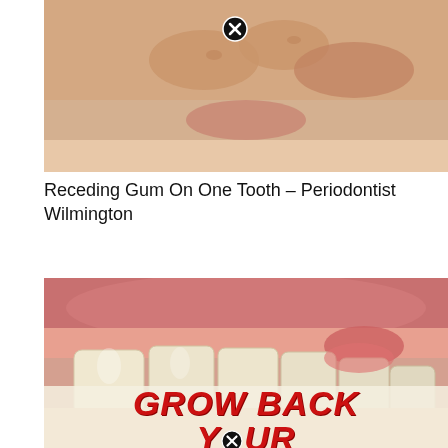[Figure (photo): Close-up photo of a person touching their mouth/gum area with fingers, suggesting dental concern. Has a close/dismiss button overlay.]
Receding Gum On One Tooth – Periodontist Wilmington
[Figure (photo): Close-up macro photo of human teeth and gums showing receding/inflamed gum tissue on one tooth. Overlaid with bold red text 'GROW BACK YOUR' and a close button.]